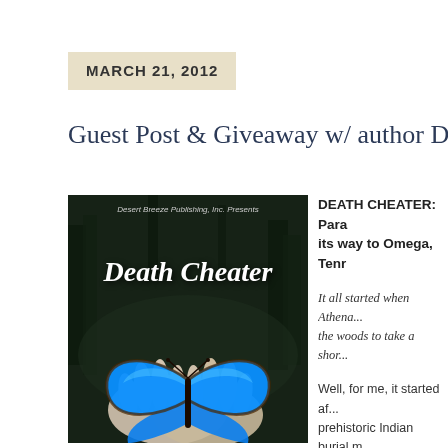MARCH 21, 2012
Guest Post & Giveaway w/ author D
[Figure (photo): Book cover for 'Death Cheater' published by Desert Breeze Publishing, Inc. Shows two hands holding a large blue morpho butterfly against a dark forest background.]
DEATH CHEATER: Para... its way to Omega, Tenn...
It all started when Athena... the woods to take a shor...
Well, for me, it started af... prehistoric Indian burial m... haunting experience, and... where I based my next n... small town setting.